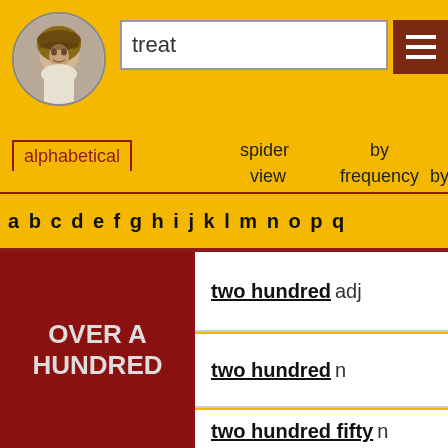[Figure (illustration): Shakespeare portrait in circular frame]
treat
alphabetical
spider view
by frequency by
a b c d e f g h i j k l m n o p q
OVER A HUNDRED
two hundred adj
two hundred n
two hundred fifty n